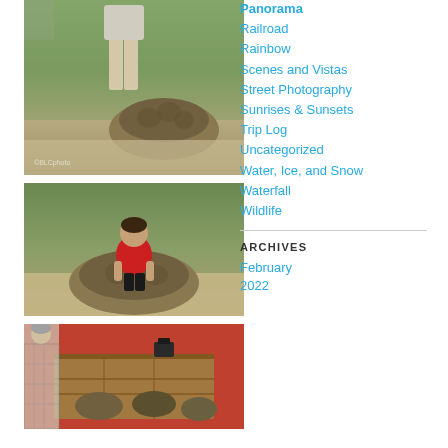[Figure (photo): Person standing next to a large tortoise on grass]
[Figure (photo): Young child in red shirt sitting on top of a large tortoise]
[Figure (photo): Person looking at tortoises in a wooden crate in a truck]
Panorama
Railroad
Rainbow
Scenes and Vistas
Street Photography
Sunrises & Sunsets
Trip Log
Uncategorized
Water, Ice, and Snow
Waterfall
Wildlife
ARCHIVES
February 2022